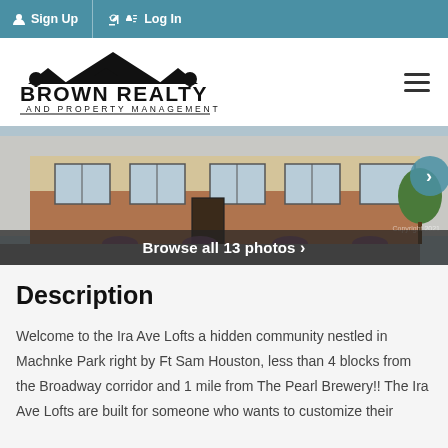Sign Up  Log In
[Figure (logo): Brown Realty and Property Management logo with rooftop silhouette graphic]
[Figure (photo): Exterior rendering of Ira Ave Lofts townhome community, modern brick facade with multiple units]
Description
Welcome to the Ira Ave Lofts a hidden community nestled in Machnke Park right by Ft Sam Houston, less than 4 blocks from the Broadway corridor and 1 mile from The Pearl Brewery!! The Ira Ave Lofts are built for someone who wants to customize their